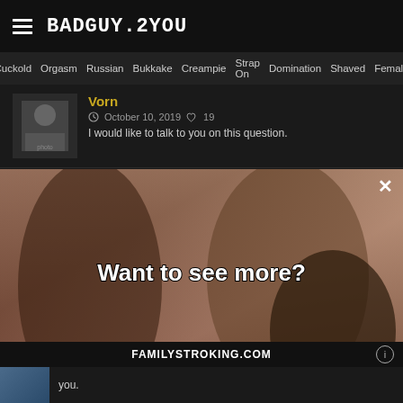BADGUY.2YOU
Cuckold  Orgasm  Russian  Bukkake  Creampie  Strap On  Domination  Shaved  Female
Vorn
October 10, 2019  19
I would like to talk to you on this question.
Tezuru
September 9, 2019  28
[Figure (screenshot): Adult content popup overlay with blurred background image asking 'Want to see more?' with Yes! and no buttons]
FAMILYSTROKING.COM
you.